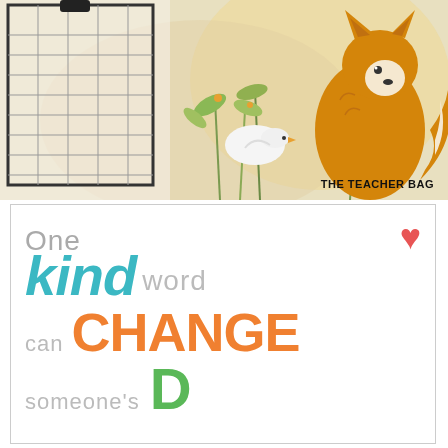[Figure (illustration): Illustrated scene with a fox and a white bird among plants and foliage, with a notebook/clipboard on the left side. Warm golden-brown and cream tones. 'THE TEACHER BAG' text in lower right corner.]
[Figure (infographic): Typographic quote poster with mixed fonts and colors: 'One kind word can CHANGE someone's D...' The word 'kind' is large teal italic, 'CHANGE' is large bold orange, a red heart icon appears top right, 'D' is large bold green. Other text in gray.]